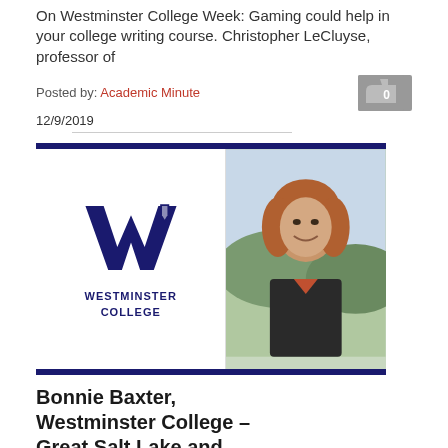On Westminster College Week: Gaming could help in your college writing course. Christopher LeCluyse, professor of
Posted by: Academic Minute
12/9/2019
[Figure (photo): Westminster College banner with logo and W mark on left, photo of smiling woman with reddish-brown hair and mountains in background on right]
Bonnie Baxter, Westminster College – Great Salt Lake and Life on Mars
On Westminster College Week: Want to go to Mars?  Head to Utah. Bonnie Baxter, professor of
Posted by: Academic Minute
11/9/2019